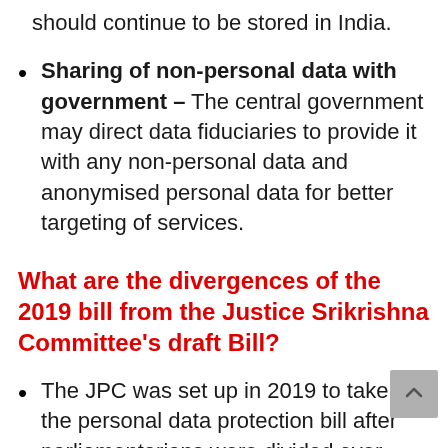should continue to be stored in India.
Sharing of non-personal data with government – The central government may direct data fiduciaries to provide it with any non-personal data and anonymised personal data for better targeting of services.
What are the divergences of the 2019 bill from the Justice Srikrishna Committee's draft Bill?
The JPC was set up in 2019 to take up the personal data protection bill after parliamentarians were divided over several provisions of